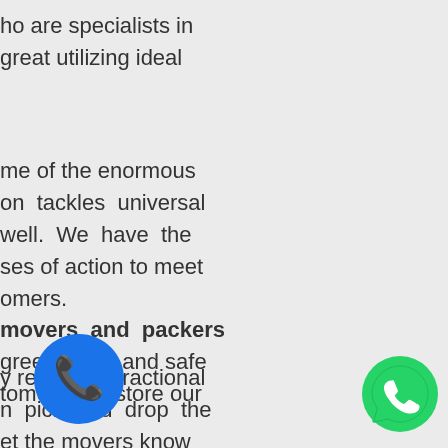ho are specialists in great utilizing ideal
me of the enormous on tackles universal well. We have the ses of action to meet omers.
movers and packers gree secure and safe tomers can store our
y regarding fractional n pick and drop the et the movers know t s guarantee re a cash. Now s serves in Gurgaon
[Figure (illustration): Blue circular phone/call button icon]
[Figure (illustration): Green WhatsApp icon bottom right]